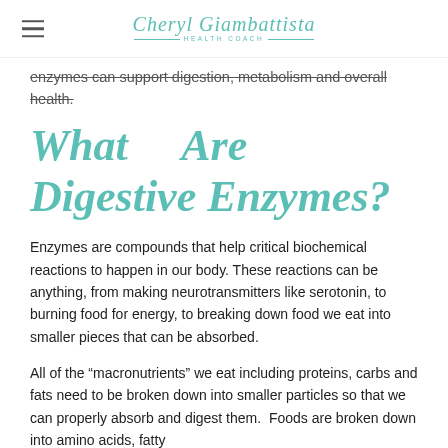Cheryl Giambattista HEALTH COACH
enzymes can support digestion, metabolism and overall health.
What Are Digestive Enzymes?
Enzymes are compounds that help critical biochemical reactions to happen in our body. These reactions can be anything, from making neurotransmitters like serotonin, to burning food for energy, to breaking down food we eat into smaller pieces that can be absorbed.
All of the “macronutrients” we eat including proteins, carbs and fats need to be broken down into smaller particles so that we can properly absorb and digest them.  Foods are broken down into amino acids, fatty